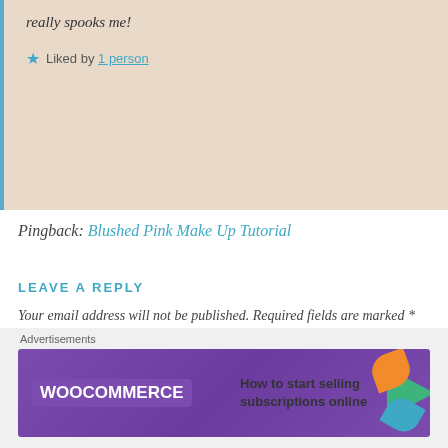really spooks me!
★ Liked by 1 person
Pingback: Blushed Pink Make Up Tutorial
LEAVE A REPLY
Your email address will not be published. Required fields are marked *
COMMENT *
[Figure (other): WooCommerce advertisement banner: How to start selling subscriptions online]